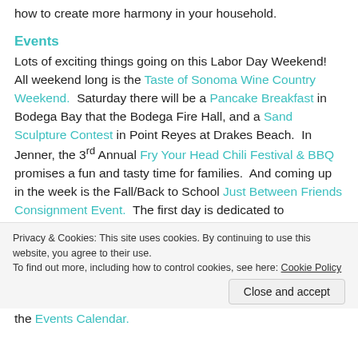how to create more harmony in your household.
Events
Lots of exciting things going on this Labor Day Weekend!  All weekend long is the Taste of Sonoma Wine Country Weekend.  Saturday there will be a Pancake Breakfast in Bodega Bay that the Bodega Fire Hall, and a Sand Sculpture Contest in Point Reyes at Drakes Beach.  In Jenner, the 3rd Annual Fry Your Head Chili Festival & BBQ promises a fun and tasty time for families.  And coming up in the week is the Fall/Back to School Just Between Friends Consignment Event.  The first day is dedicated to some special people (see if you qualify), but the last
Privacy & Cookies: This site uses cookies. By continuing to use this website, you agree to their use.
To find out more, including how to control cookies, see here: Cookie Policy
Close and accept
the Events Calendar.